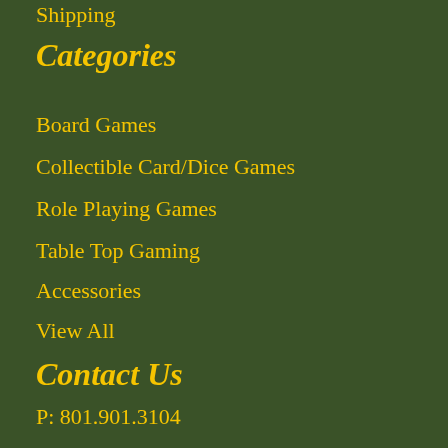Shipping
Categories
Board Games
Collectible Card/Dice Games
Role Playing Games
Table Top Gaming
Accessories
View All
Contact Us
P: 801.901.3104
Email: info@gamersinn.com
218 N. West State Street #8
American Fork, Utah 84003
Hours:
Mon-Thurs: 11am-10pm